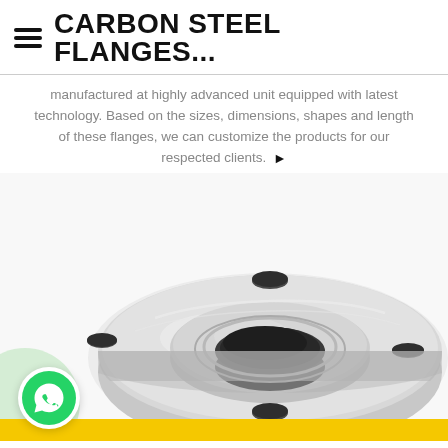CARBON STEEL FLANGES...
manufactured at highly advanced unit equipped with latest technology. Based on the sizes, dimensions, shapes and length of these flanges, we can customize the products for our respected clients. ▶
[Figure (photo): A silver/metallic carbon steel pipe flange viewed from above at an angle, showing circular disc shape with central bore hole and four bolt holes at the corners. Professional product photograph on white background.]
[Figure (logo): WhatsApp logo button — green circle with white phone handset icon]